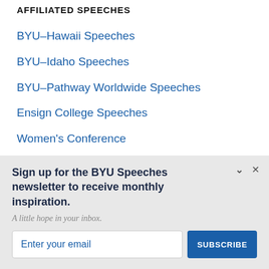AFFILIATED SPEECHES
BYU–Hawaii Speeches
BYU–Idaho Speeches
BYU–Pathway Worldwide Speeches
Ensign College Speeches
Women's Conference
Kennedy Center Lectures
Sign up for the BYU Speeches newsletter to receive monthly inspiration.
A little hope in your inbox.
Enter your email
SUBSCRIBE